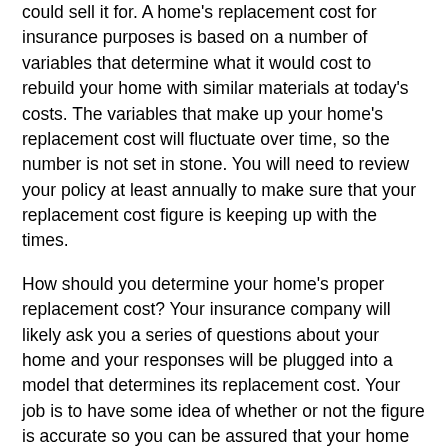could sell it for. A home's replacement cost for insurance purposes is based on a number of variables that determine what it would cost to rebuild your home with similar materials at today's costs. The variables that make up your home's replacement cost will fluctuate over time, so the number is not set in stone. You will need to review your policy at least annually to make sure that your replacement cost figure is keeping up with the times.
How should you determine your home's proper replacement cost? Your insurance company will likely ask you a series of questions about your home and your responses will be plugged into a model that determines its replacement cost. Your job is to have some idea of whether or not the figure is accurate so you can be assured that your home is properly protected or that you are not over-insured. Consider talking to some home builders in your area as well as visiting some home improvement stores to help figure out what it would cost to replace your home's interior and exterior finishes (including labor) at today's prices. Together we can make sure that your home is properly insured and its replacement cost is accurate.